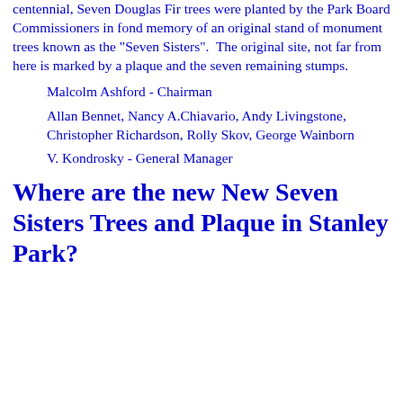centennial, Seven Douglas Fir trees were planted by the Park Board Commissioners in fond memory of an original stand of monument trees known as the "Seven Sisters".  The original site, not far from here is marked by a plaque and the seven remaining stumps.
Malcolm Ashford - Chairman
Allan Bennet, Nancy A.Chiavario, Andy Livingstone, Christopher Richardson, Rolly Skov, George Wainborn
V. Kondrosky - General Manager
Where are the new New Seven Sisters Trees and Plaque in Stanley Park?